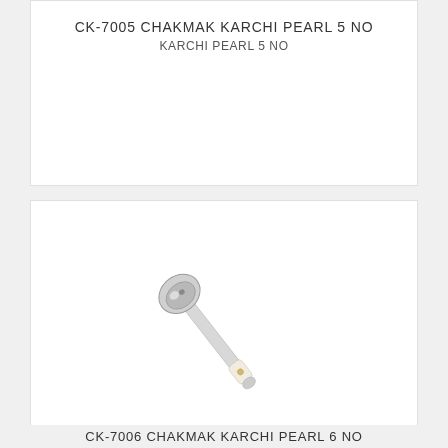CK-7005 CHAKMAK KARCHI PEARL 5 NO
KARCHI PEARL 5 NO
[Figure (photo): A stainless steel ladle/karchi with a round bowl head and a long handle with pearl-colored decorative grip, photographed on white background, oriented diagonally]
CK-7006 CHAKMAK KARCHI PEARL 6 NO